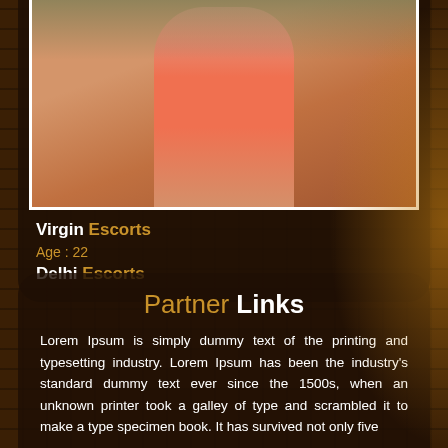[Figure (photo): Photo of a woman in a pink/coral dress standing in front of a couch, cropped at waist level]
Virgin Escorts
Age : 22
Delhi Escorts
Partner Links
Lorem Ipsum is simply dummy text of the printing and typesetting industry. Lorem Ipsum has been the industry's standard dummy text ever since the 1500s, when an unknown printer took a galley of type and scrambled it to make a type specimen book. It has survived not only five